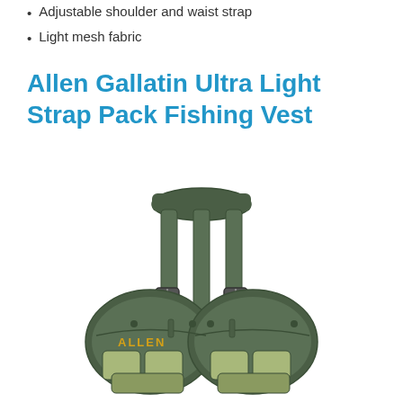Adjustable shoulder and waist strap
Light mesh fabric
Allen Gallatin Ultra Light Strap Pack Fishing Vest
[Figure (photo): Photo of Allen Gallatin Ultra Light Strap Pack Fishing Vest in olive/green color, showing front view with two chest pockets, buckle straps, and ALLEN branding in yellow text.]